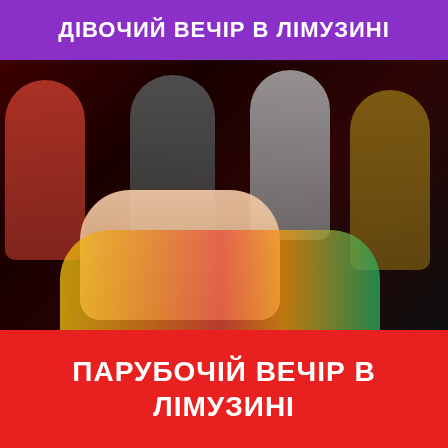ДІВОЧИЙ ВЕЧІР В ЛІМУЗИНІ
[Figure (photo): Group of young people celebrating at a party with fruits and drinks, shot in dark red-lit interior]
ПАРУБОЧІЙ ВЕЧІР В ЛІМУЗИНІ